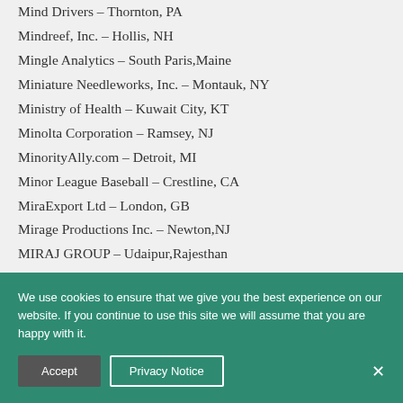Mind Drivers – Thornton, PA
Mindreef, Inc. – Hollis, NH
Mingle Analytics – South Paris, Maine
Miniature Needleworks, Inc. – Montauk, NY
Ministry of Health – Kuwait City, KT
Minolta Corporation – Ramsey, NJ
MinorityAlly.com – Detroit, MI
Minor League Baseball – Crestline, CA
MiraExport Ltd – London, GB
Mirage Productions Inc. – Newton, NJ
MIRAJ GROUP – Udaipur,Rajesthan
MIRAJ GROUP – Udaipur, Rajesthan
Miramar Systems – Santa Barbara, CA
Miranda Technologies – St-Laurent, Quebec
Miranda – Abilene, TX
Mirren Business Development – New York, NY
Mirror International – ...
Mishori Trade Limited – Ramat Hasharon, Israel
We use cookies to ensure that we give you the best experience on our website. If you continue to use this site we will assume that you are happy with it.